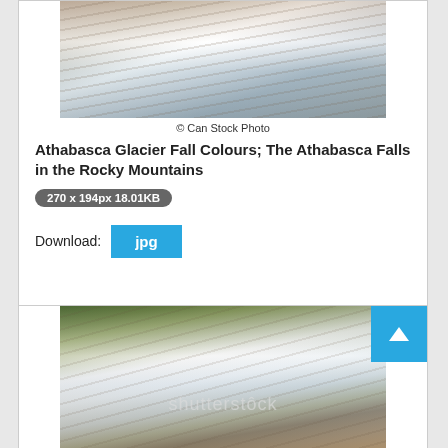[Figure (photo): Athabasca Falls waterfall with rocky canyon walls, water cascading through layered rock formations]
© Can Stock Photo
Athabasca Glacier Fall Colours; The Athabasca Falls in the Rocky Mountains
270 x 194px 18.01KB
Download: jpg
[Figure (photo): Athabasca Falls waterfall with green trees, rocky cliff walls, mist, and shutterstock watermark; back-to-top button overlay]